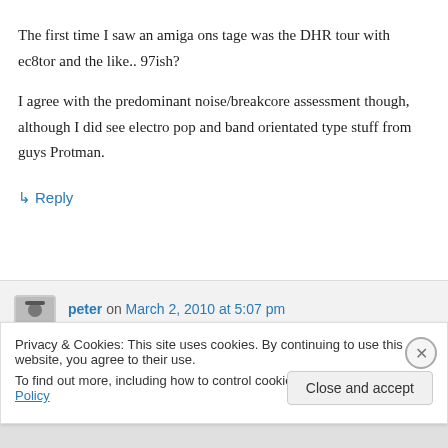The first time I saw an amiga ons tage was the DHR tour with ec8tor and the like.. 97ish?
I agree with the predominant noise/breakcore assessment though, although I did see electro pop and band orientated type stuff from guys Protman.
↳ Reply
peter on March 2, 2010 at 5:07 pm
Privacy & Cookies: This site uses cookies. By continuing to use this website, you agree to their use.
To find out more, including how to control cookies, see here: Cookie Policy
Close and accept